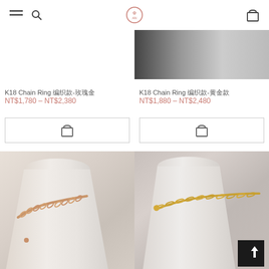Navigation bar with hamburger menu, search icon, AN logo, and shopping bag icon
[Figure (photo): Partial product image at top-right: dark to light gradient background, jewelry item partially visible]
K18 Chain Ring 腕錶款式-玫瑰金
NT$1,780 – NT$2,380
K18 Chain Ring 腕錶款式-黃金款
NT$1,880 – NT$2,480
[Figure (other): Add to cart button with shopping bag icon, left product]
[Figure (other): Add to cart button with shopping bag icon, right product]
[Figure (photo): Close-up photo of a rose gold K18 chain ring on a white cone ring display stand]
[Figure (photo): Close-up photo of a yellow gold K18 chain ring on a white cone ring display stand, with black scroll-to-top button overlay]